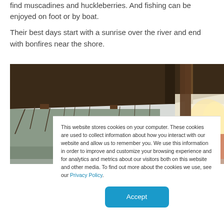find muscadines and huckleberries. And fishing can be enjoyed on foot or by boat.
Their best days start with a sunrise over the river and end with bonfires near the shore.
[Figure (photo): Outdoor scene viewed from under a covered structure/pavilion, showing bare winter trees and bright sky/sunlight on the right side.]
This website stores cookies on your computer. These cookies are used to collect information about how you interact with our website and allow us to remember you. We use this information in order to improve and customize your browsing experience and for analytics and metrics about our visitors both on this website and other media. To find out more about the cookies we use, see our Privacy Policy.
Accept